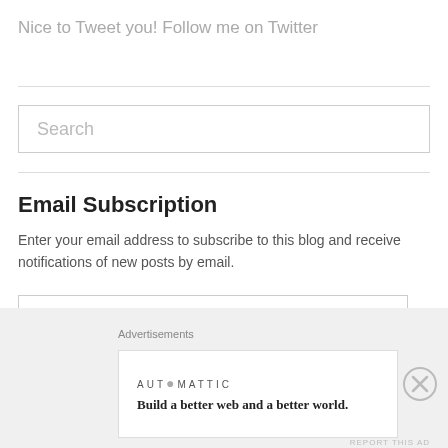Nice to Tweet you! Follow me on Twitter
Search
Email Subscription
Enter your email address to subscribe to this blog and receive notifications of new posts by email.
Email Address
Sign me up!
Advertisements
[Figure (other): Automattic advertisement banner: logo text 'AUTOMATTIC' and tagline 'Build a better web and a better world.']
REPORT THIS AD